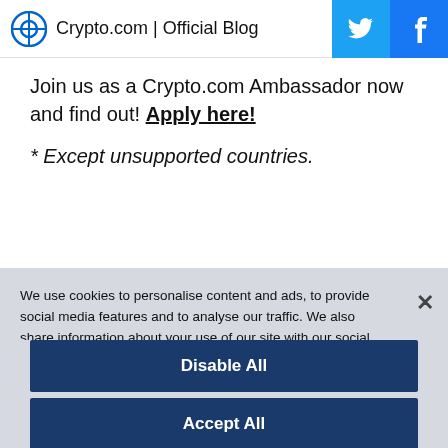Crypto.com | Official Blog
Join us as a Crypto.com Ambassador now and find out! Apply here!
* Except unsupported countries.
We use cookies to personalise content and ads, to provide social media features and to analyse our traffic. We also share information about your use of our site with our social media, advertising and analytics partners.
Customize Settings
Disable All
Accept All